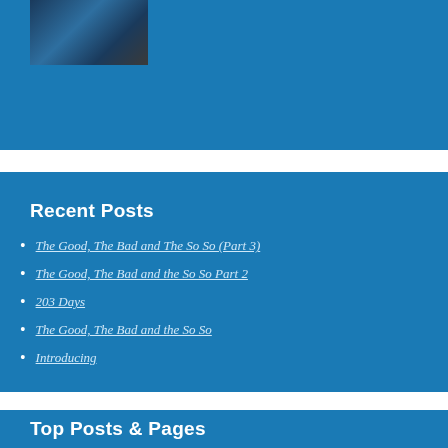[Figure (photo): A cropped photo showing a person in dark clothing against a dark background, displayed in the top blue sidebar widget area.]
Recent Posts
The Good, The Bad and The So So (Part 3)
The Good, The Bad and the So So Part 2
203 Days
The Good, The Bad and the So So
Introducing
Top Posts & Pages